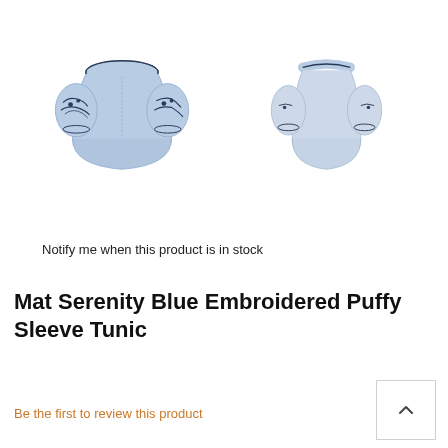[Figure (photo): Two views of a light blue embroidered puffy sleeve tunic — front view on the left showing dark floral embroidery on the puffed sleeves and off-shoulder neckline, and side/back view on the right showing the same tunic from a different angle.]
Notify me when this product is in stock
Mat Serenity Blue Embroidered Puffy Sleeve Tunic
Be the first to review this product